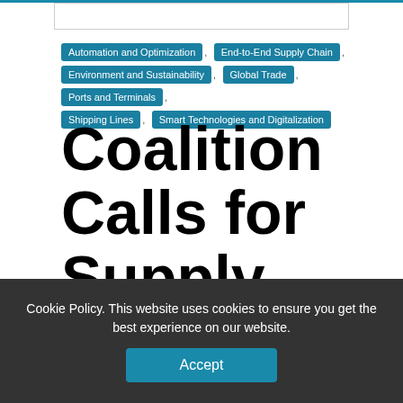Automation and Optimization , End-to-End Supply Chain , Environment and Sustainability , Global Trade , Ports and Terminals , Shipping Lines , Smart Technologies and Digitalization
Coalition Calls for Supply Chain Safety Improvements
Cookie Policy. This website uses cookies to ensure you get the best experience on our website.